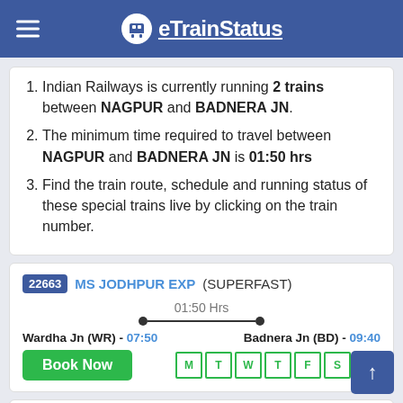eTrainStatus
Indian Railways is currently running 2 trains between NAGPUR and BADNERA JN.
The minimum time required to travel between NAGPUR and BADNERA JN is 01:50 hrs
Find the train route, schedule and running status of these special trains live by clicking on the train number.
22663 MS JODHPUR EXP (SUPERFAST)
01:50 Hrs
Wardha Jn (WR) - 07:50   Badnera Jn (BD) - 09:40
Book Now
M T W T F S S
22737 SC HSR SF EXP (SUPERFAST)